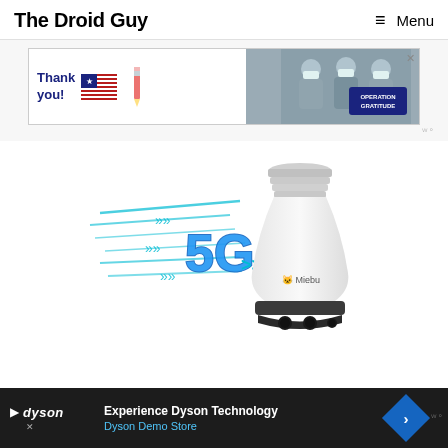The Droid Guy   ≡ Menu
[Figure (photo): Advertisement banner: 'Thank you!' with American flag and Operation Gratitude logo with healthcare workers in masks]
[Figure (photo): Product image of a Miebi 5G smart light bulb security camera with '5G' text and speed graphic elements]
[Figure (photo): Bottom advertisement bar for Dyson: 'Experience Dyson Technology' with Dyson Demo Store link, blue navigation arrow icon]